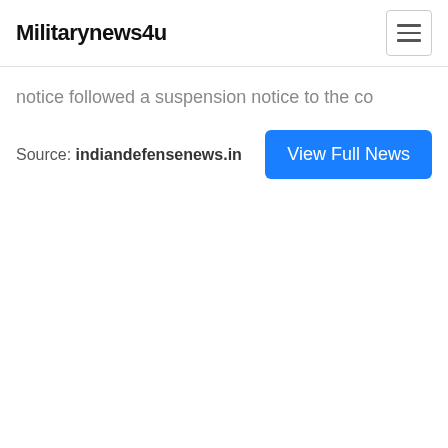Militarynews4u
notice followed a suspension notice to the co
Source: indiandefensenews.in
View Full News